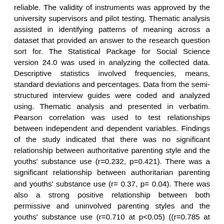reliable. The validity of instruments was approved by the university supervisors and pilot testing. Thematic analysis assisted in identifying patterns of meaning across a dataset that provided an answer to the research question sort for. The Statistical Package for Social Science version 24.0 was used in analyzing the collected data. Descriptive statistics involved frequencies, means, standard deviations and percentages. Data from the semi-structured interview guides were coded and analyzed using. Thematic analysis and presented in verbatim. Pearson correlation was used to test relationships between independent and dependent variables. Findings of the study indicated that there was no significant relationship between authoritative parenting style and the youths' substance use (r=0.232, p=0.421). There was a significant relationship between authoritarian parenting and youths' substance use (r= 0.37, p= 0.04). There was also a strong positive relationship between both permissive and uninvolved parenting styles and the youths' substance use (r=0.710 at p<0.05) ((r=0.785 at p<0.05) consecutively. Therefore, it was established from the findings that authoritarian, permissive and uninvolved parenting styles had influenced on substance use among youths from treatment centers in Kiambu County. The study recommended that parents should not impose forceful and punitive discipline to their children but rather adopt a more...